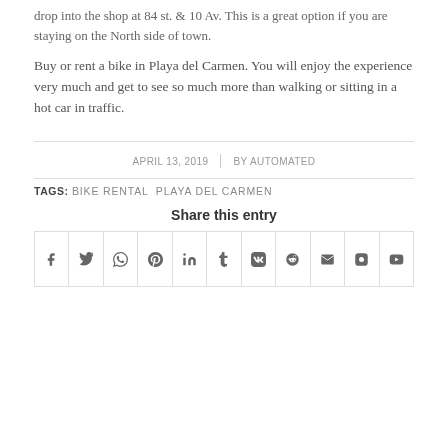drop into the shop at 84 st. & 10 Av. This is a great option if you are staying on the North side of town.
Buy or rent a bike in Playa del Carmen. You will enjoy the experience very much and get to see so much more than walking or sitting in a hot car in traffic.
APRIL 13, 2019  |  BY AUTOMATED
TAGS: BIKE RENTAL PLAYA DEL CARMEN
Share this entry
[Figure (other): Social sharing icons row: Facebook, Twitter, WhatsApp, Pinterest, LinkedIn, Tumblr, VK, Reddit, Email, Instagram, YouTube]